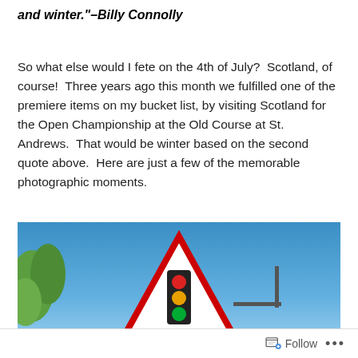and winter."–Billy Connolly
So what else would I fete on the 4th of July?  Scotland, of course!  Three years ago this month we fulfilled one of the premiere items on my bucket list, by visiting Scotland for the Open Championship at the Old Course at St. Andrews.  That would be winter based on the second quote above.  Here are just a few of the memorable photographic moments.
[Figure (photo): Photo showing a UK/European road warning sign with traffic lights symbol (red triangle with traffic light icon) against a blue sky, with green trees visible on the left side.]
Follow ...